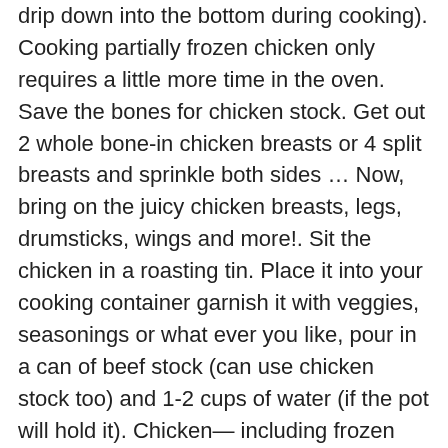drip down into the bottom during cooking). Cooking partially frozen chicken only requires a little more time in the oven. Save the bones for chicken stock. Get out 2 whole bone-in chicken breasts or 4 split breasts and sprinkle both sides … Now, bring on the juicy chicken breasts, legs, drumsticks, wings and more!. Sit the chicken in a roasting tin. Place it into your cooking container garnish it with veggies, seasonings or what ever you like, pour in a can of beef stock (can use chicken stock too) and 1-2 cups of water (if the pot will hold it). Chicken— including frozen wings— is one of the most dangerous foods out there. The juiciest chicken ever! I've used a slow cooker for years once I figured out how easy it was to throw the bones from a roasted chicken in a cooker with vegetable trimmings and let it sit all night. Bone-in chicken pieces require roughly 10 minutes longer, or an average of seven to 10 minutes per pound. Pour water into the bottom of the roasting tin, filling it about 1-2cm deep. Cooked chicken can remain refrigerated for up to four